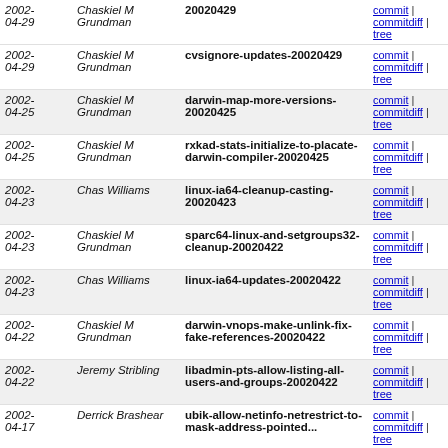| Date | Author | Tag | Links |
| --- | --- | --- | --- |
| 2002-04-29 | Chaskiel M Grundman | 20020429 | commit | commitdiff | tree |
| 2002-04-29 | Chaskiel M Grundman | cvsignore-updates-20020429 | commit | commitdiff | tree |
| 2002-04-25 | Chaskiel M Grundman | darwin-map-more-versions-20020425 | commit | commitdiff | tree |
| 2002-04-25 | Chaskiel M Grundman | rxkad-stats-initialize-to-placate-darwin-compiler-20020425 | commit | commitdiff | tree |
| 2002-04-23 | Chas Williams | linux-ia64-cleanup-casting-20020423 | commit | commitdiff | tree |
| 2002-04-23 | Chaskiel M Grundman | sparc64-linux-and-setgroups32-cleanup-20020422 | commit | commitdiff | tree |
| 2002-04-23 | Chas Williams | linux-ia64-updates-20020422 | commit | commitdiff | tree |
| 2002-04-22 | Chaskiel M Grundman | darwin-vnops-make-unlink-fix-fake-references-20020422 | commit | commitdiff | tree |
| 2002-04-22 | Jeremy Stribling | libadmin-pts-allow-listing-all-users-and-groups-20020422 | commit | commitdiff | tree |
| 2002-04-17 | Derrick Brashear | ubik-allow-netinfo-netrestrict-to-mask-address-pointed... | commit | commitdiff | tree |
| 2002-04-09 | Pavel Semerad | fakestat-fix-eval-args-ordering-20020409 | commit | commitdiff | tree |
| 2002-04-05 | Derrick Brashear | linux-newvcache-more-simplification-20020405 | commit | commitdiff | tree |
| 2002-04-04 | Derrick Brashear | solaris-nfstrans-make-it-compile-20020404 | commit | commitdiff | tree |